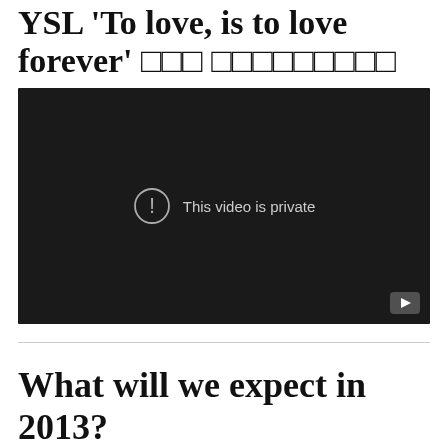YSL 'To love, is to love forever' ☐☐☐ ☐☐☐☐☐☐☐☐☐
[Figure (screenshot): Embedded video player showing 'This video is private' message on dark background with a YouTube play button in the bottom right corner]
What will we expect in 2013?